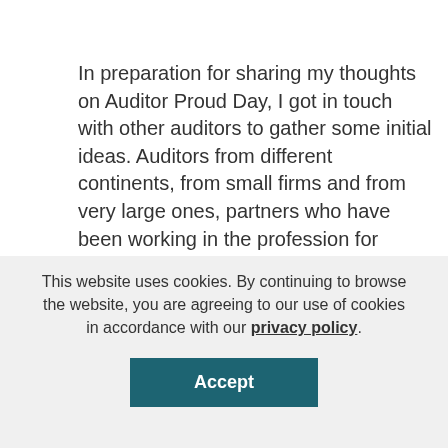In preparation for sharing my thoughts on Auditor Proud Day, I got in touch with other auditors to gather some initial ideas. Auditors from different continents, from small firms and from very large ones, partners who have been working in the profession for years and staff who have only just started, men and women. The result of this short survey pretty much confirmed what I had feared. Some said they had no idea, some smiled nervously. Some
[Figure (illustration): Yellow square icon depicting stacked documents/screens with a chat bubble, bordered with dark outline on yellow background]
This website uses cookies. By continuing to browse the website, you are agreeing to our use of cookies in accordance with our privacy policy.